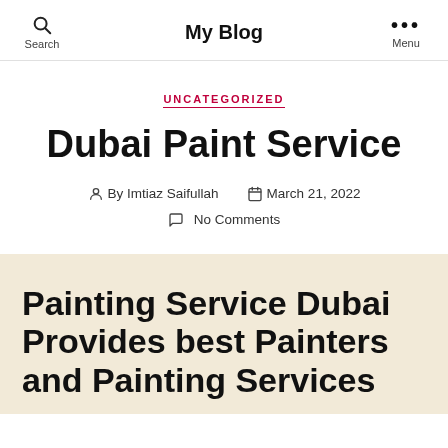My Blog — Search / Menu
UNCATEGORIZED
Dubai Paint Service
By Imtiaz Saifullah   March 21, 2022   No Comments
Painting Service Dubai Provides best Painters and Painting Services